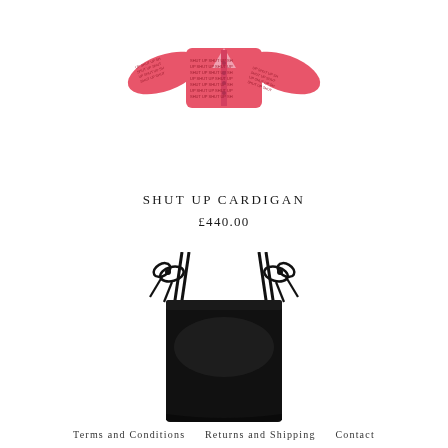[Figure (photo): Pink knit cardigan with 'SHUT UP' text pattern repeated all over, displayed on white background, product shot from above at slight angle]
SHUT UP CARDIGAN
£440.00
[Figure (photo): Black satin slip top/dress with thin adjustable tie straps with bows at shoulder, square neckline, product shot on white background]
Terms and Conditions   Returns and Shipping   Contact